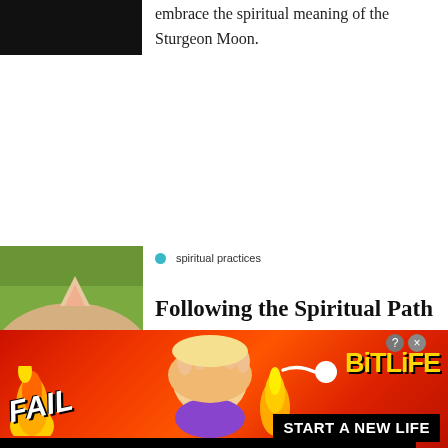[Figure (photo): Dark/black image at top left, partial view]
embrace the spiritual meaning of the Sturgeon Moon.
[Figure (photo): Cat ear visible against green background]
spiritual practices
Follo... the Spirit... Pat...
Enjoying this content?
Get this article and many more delivered straight to
This website uses cookies to ensure you get the best experience on our website. Learn More
[Figure (screenshot): BitLife advertisement banner with FAIL text, cartoon emoji, flames, and START A NEW LIFE button]